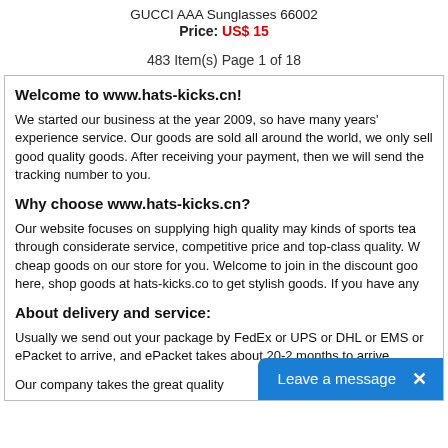GUCCI AAA Sunglasses 66002
Price: US$ 15
483 Item(s) Page 1 of 18
Welcome to www.hats-kicks.cn!
We started our business at the year 2009, so have many years' experience service. Our goods are sold all around the world, we only sell good quality goods. After receiving your payment, then we will send the tracking number to you.
Why choose www.hats-kicks.cn?
Our website focuses on supplying high quality may kinds of sports team jerseys through considerate service, competitive price and top-class quality. We have best cheap goods on our store for you. Welcome to join in the discount goods shopping here, shop goods at hats-kicks.co to get stylish goods. If you have any
About delivery and service:
Usually we send out your package by FedEx or UPS or DHL or EMS or ePacket to arrive, and ePacket takes about 20-2 months to arrive.
Our company takes the great quality
[Figure (other): Blue 'Leave a message' chat button with close X at bottom right]